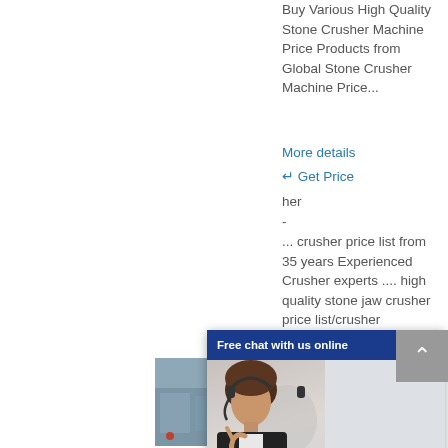Buy Various High Quality Stone Crusher Machine Price Products from Global Stone Crusher Machine Price...
More details
Get Price
her -
... crusher price list from 35 years Experienced Crusher experts .... high quality stone jaw crusher price list/crusher machine for mining.
[Figure (photo): Small partial image visible at left side, showing a building or industrial scene]
[Figure (screenshot): Chat popup overlay with blue header 'Free chat with us online', close X button, female customer service agent with headset, and dark blue CHAT NOW button]